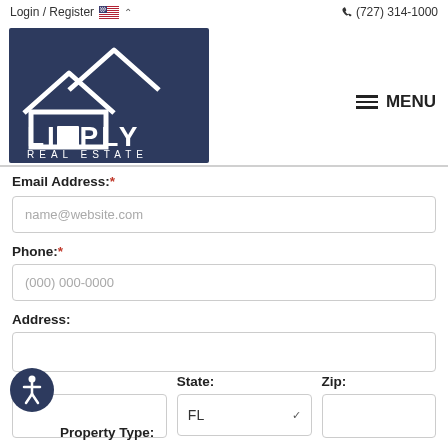Login / Register  (727) 314-1000
[Figure (logo): Lipply Real Estate logo — white house silhouette with roof lines on dark navy background, text LIPPLY REAL ESTATE below]
MENU
Email Address: *
name@website.com
Phone: *
(000) 000-0000
Address:
City:
State:
Zip:
FL
Property Type: